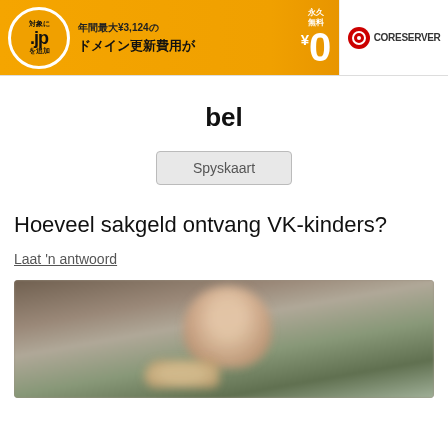[Figure (screenshot): Japanese web hosting advertisement banner. Left section has orange background with .jp domain promotion showing '対象に .jp を追加', '年間最大¥3,124の ドメイン更新費用が', '永久無料 ¥0'. Right section shows CORESERVER logo on white background.]
bel
Spyskaart
Hoeveel sakgeld ontvang VK-kinders?
Laat 'n antwoord
[Figure (photo): A blurred photo of a young child looking downward, with a hand reaching toward an object on a table.]